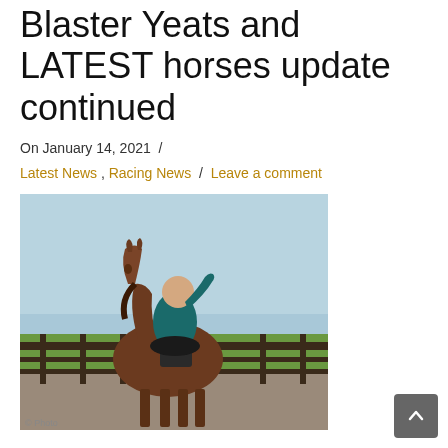Blaster Yeats and LATEST horses update continued
On January 14, 2021  /
Latest News , Racing News  /  Leave a comment
[Figure (photo): Person wearing a teal shirt riding a brown horse in an outdoor paddock with a wooden fence and green fields in the background on a sunny day.]
Blaster Yeats, Excuses for his first run at Wetherby on 30th Oct, where after an extended break, was running well, but got in a